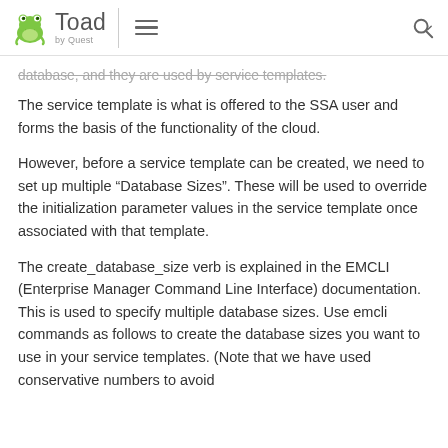Toad by Quest
database, and they are used by service templates.
The service template is what is offered to the SSA user and forms the basis of the functionality of the cloud.
However, before a service template can be created, we need to set up multiple “Database Sizes”. These will be used to override the initialization parameter values in the service template once associated with that template.
The create_database_size verb is explained in the EMCLI (Enterprise Manager Command Line Interface) documentation. This is used to specify multiple database sizes. Use emcli commands as follows to create the database sizes you want to use in your service templates. (Note that we have used conservative numbers to avoid